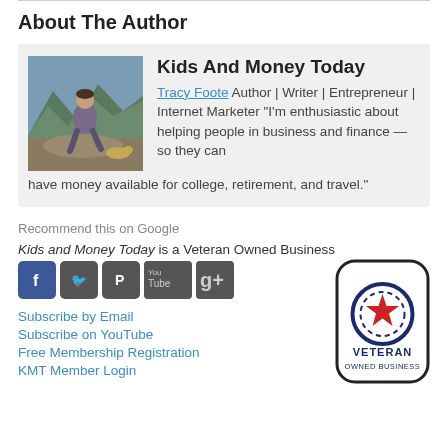About The Author
Kids And Money Today
Tracy Foote Author | Writer | Entrepreneur | Internet Marketer "I'm enthusiastic about helping people in business and finance — so they can have money available for college, retirement, and travel."
Recommend this on Google
Kids and Money Today is a Veteran Owned Business
[Figure (logo): Social media icons: Facebook, Twitter, Pinterest, YouTube, Google+]
Subscribe by Email
Subscribe on YouTube
Free Membership Registration
KMT Member Login
[Figure (logo): Veteran Owned Business badge with star and circular border design]